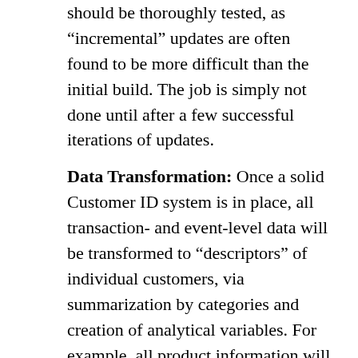should be thoroughly tested, as “incremental” updates are often found to be more difficult than the initial build. The job is simply not done until after a few successful iterations of updates.
Data Transformation: Once a solid Customer ID system is in place, all transaction- and event-level data will be transformed to “descriptors” of individual customers, via summarization by categories and creation of analytical variables. For example, all product information will be aligned for each customer, and transaction data will be converted into personal-level monetary summaries and activities, in both static and time-series formats. Promotion and response history data will go through